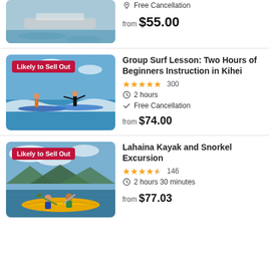[Figure (photo): Partial view of a water activity photo (top portion), cropped at top of page]
Free Cancellation
from $55.00
[Figure (photo): Two people surfing on waves in Kihei, with 'Likely to Sell Out' badge]
Group Surf Lesson: Two Hours of Beginners Instruction in Kihei
★★★★★ 300
2 hours
Free Cancellation
from $74.00
[Figure (photo): Two people in a yellow kayak on calm water with mountains in background, 'Likely to Sell Out' badge]
Lahaina Kayak and Snorkel Excursion
★★★★½ 146
2 hours 30 minutes
from $77.03